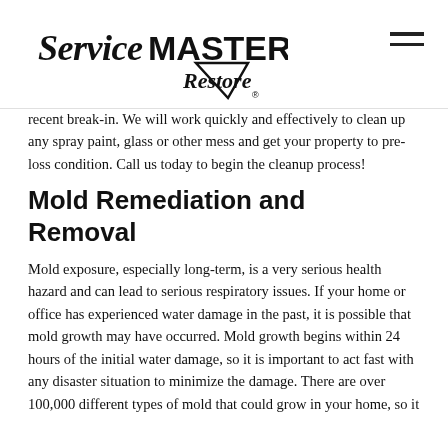[Figure (logo): ServiceMASTER Restore logo with triangle/arrow graphic]
recent break-in. We will work quickly and effectively to clean up any spray paint, glass or other mess and get your property to pre-loss condition. Call us today to begin the cleanup process!
Mold Remediation and Removal
Mold exposure, especially long-term, is a very serious health hazard and can lead to serious respiratory issues. If your home or office has experienced water damage in the past, it is possible that mold growth may have occurred. Mold growth begins within 24 hours of the initial water damage, so it is important to act fast with any disaster situation to minimize the damage. There are over 100,000 different types of mold that could grow in your home, so it